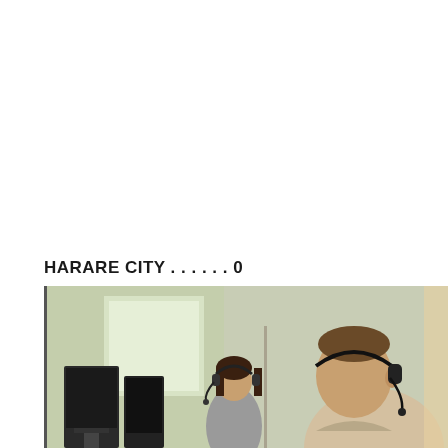HARARE CITY . . . . . . 0
YADAH FC . . . . . . . . . .0
[Figure (photo): Office/call center scene with two people wearing headsets at computer workstations. A woman with dark hair is in the middle background, and a man is visible on the right side in the foreground, both wearing headsets. The background shows windows with natural light.]